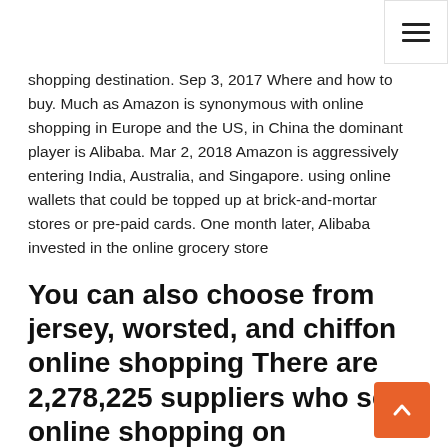shopping destination. Sep 3, 2017 Where and how to buy. Much as Amazon is synonymous with online shopping in Europe and the US, in China the dominant player is Alibaba. Mar 2, 2018 Amazon is aggressively entering India, Australia, and Singapore. using online wallets that could be topped up at brick-and-mortar stores or pre-paid cards. One month later, Alibaba invested in the online grocery store
You can also choose from jersey, worsted, and chiffon online shopping There are 2,278,225 suppliers who sells online shopping on Alibaba.com, mainly located in Asia. The top countries of suppliers are India, China, and